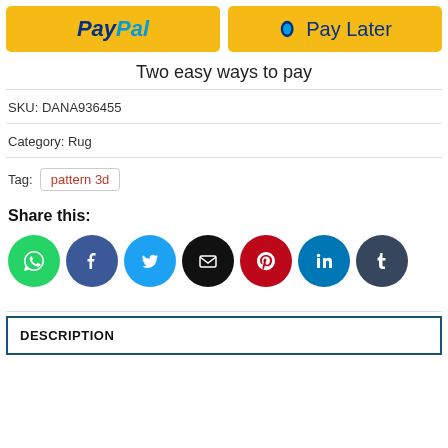[Figure (infographic): PayPal and Pay Later payment buttons in yellow/gold color]
Two easy ways to pay
SKU: DANA936455
Category: Rug
Tag: pattern 3d
Share this:
[Figure (infographic): Row of 7 social media share icons: WhatsApp (green), Facebook (dark blue), Twitter (blue), Email (black), Pinterest (red), LinkedIn (blue), Tumblr (dark blue-grey)]
DESCRIPTION